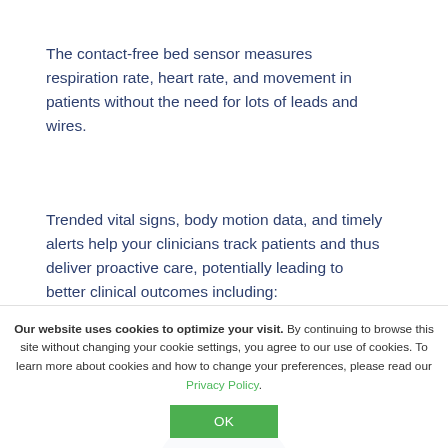The contact-free bed sensor measures respiration rate, heart rate, and movement in patients without the need for lots of leads and wires.
Trended vital signs, body motion data, and timely alerts help your clinicians track patients and thus deliver proactive care, potentially leading to better clinical outcomes including:
[Figure (illustration): Partial view of a dark blue semi-circular icon with two white dots, resembling a person/avatar icon, partially cropped at the bottom of the content area]
Our website uses cookies to optimize your visit. By continuing to browse this site without changing your cookie settings, you agree to our use of cookies. To learn more about cookies and how to change your preferences, please read our Privacy Policy.
OK